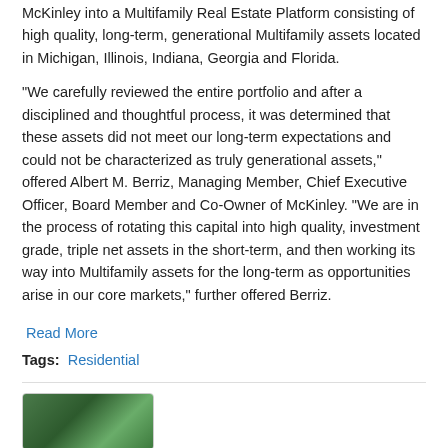McKinley into a Multifamily Real Estate Platform consisting of high quality, long-term, generational Multifamily assets located in Michigan, Illinois, Indiana, Georgia and Florida.
"We carefully reviewed the entire portfolio and after a disciplined and thoughtful process, it was determined that these assets did not meet our long-term expectations and could not be characterized as truly generational assets," offered Albert M. Berriz, Managing Member, Chief Executive Officer, Board Member and Co-Owner of McKinley. "We are in the process of rotating this capital into high quality, investment grade, triple net assets in the short-term, and then working its way into Multifamily assets for the long-term as opportunities arise in our core markets," further offered Berriz.
Read More
Tags: Residential
[Figure (photo): Thumbnail image of trees/nature, shown at bottom left of page]